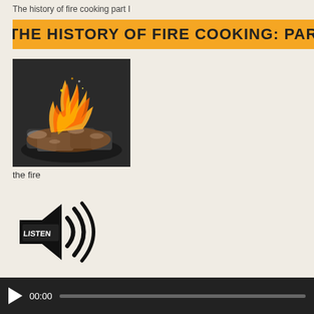The history of fire cooking part I
THE HISTORY OF FIRE COOKING: PAR
[Figure (photo): Photo of burning charcoal/wood on a grill with orange flames]
the fire
[Figure (illustration): Speaker icon with sound waves and text LISTEN written on it]
[Figure (other): Audio player control bar with play button showing 00:00 and a progress bar]